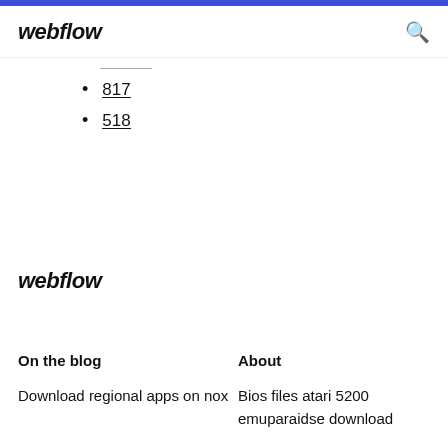webflow
817
518
webflow
On the blog
About
Download regional apps on nox
Bios files atari 5200 emuparaidse download